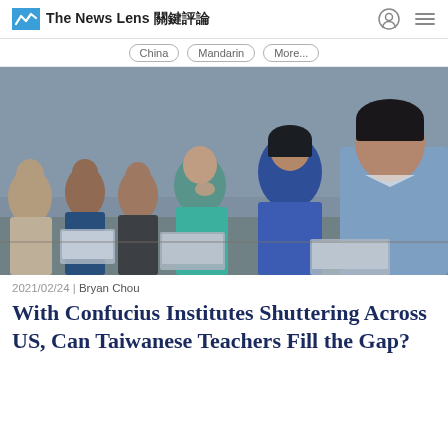The News Lens 關鍵評論
China | Mandarin | More...
[Figure (photo): University students sitting in a lecture hall with laptops, listening attentively. Several students of various ethnicities are visible, with a woman in a blue top and a man in a light blue shirt prominently featured in the foreground.]
2021/02/24 | Bryan Chou
With Confucius Institutes Shuttering Across US, Can Taiwanese Teachers Fill the Gap?